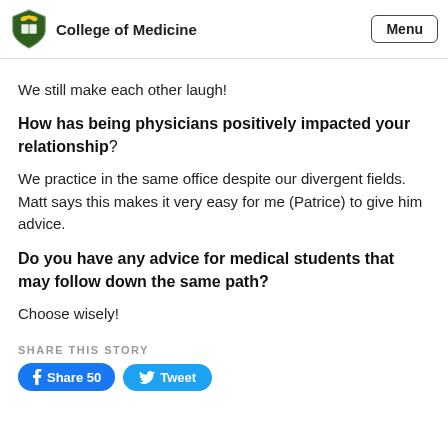College of Medicine  Menu
We still make each other laugh!
How has being physicians positively impacted your relationship?
We practice in the same office despite our divergent fields. Matt says this makes it very easy for me (Patrice) to give him advice.
Do you have any advice for medical students that may follow down the same path?
Choose wisely!
SHARE THIS STORY
Share 50  Tweet